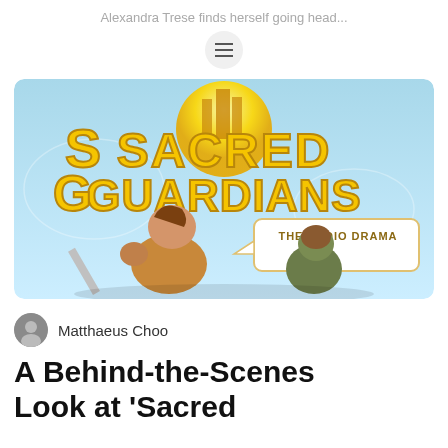Alexandra Trese finds herself going head...
[Figure (illustration): Illustrated cover art for 'Sacred Guardians: The Audio Drama' featuring two warrior characters — a large muscular man and a smaller armored figure — with the title in large yellow stylized lettering and a speech bubble saying 'THE AUDIO DRAMA', set against a light blue sky background with a castle silhouette.]
Matthaeus Choo
A Behind-the-Scenes Look at 'Sacred